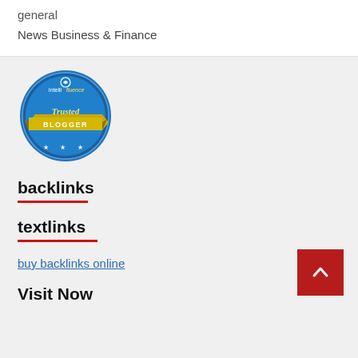general
News Business & Finance
[Figure (logo): Intellifluence Trusted Blogger badge — circular blue badge with gold ribbon banner reading TRUSTED BLOGGER]
backlinks
textlinks
buy backlinks online
Visit Now